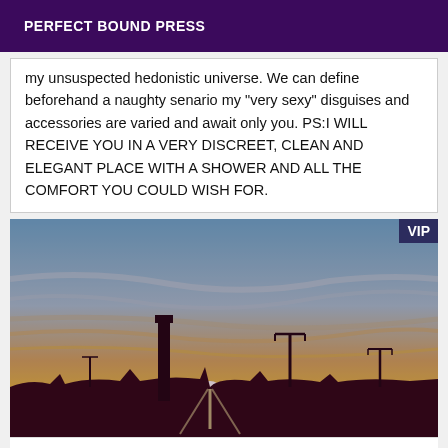PERFECT BOUND PRESS
my unsuspected hedonistic universe. We can define beforehand a naughty senario my "very sexy" disguises and accessories are varied and await only you. PS:I WILL RECEIVE YOU IN A VERY DISCREET, CLEAN AND ELEGANT PLACE WITH A SHOWER AND ALL THE COMFORT YOU COULD WISH FOR.
[Figure (photo): Sunset landscape photo showing silhouettes of industrial structures including a chimney stack and light poles against a dramatic sky with orange and golden light near the horizon, with blue sky and clouds above. A VIP badge appears in the top-right corner.]
Escort boy